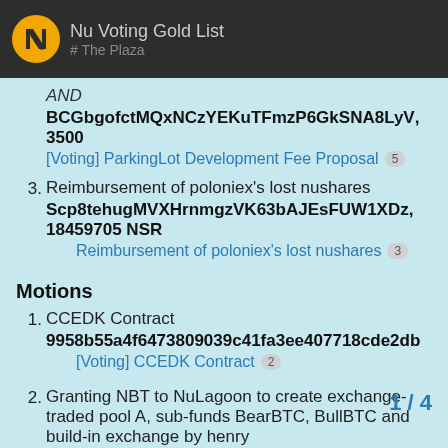Nu Voting Gold List
# The Plaza
AND
BCGbgofctMQxNCzYEKuTFmzP6GkSNA8LyV, 3500
[Voting] ParkingLot Development Fee Proposal 5
3. Reimbursement of poloniex's lost nushares
Scp8tehugMVXHrnmgzVK63bAJEsFUW1XDz, 18459705 NSR
Reimbursement of poloniex's lost nushares 3
Motions
1. CCEDK Contract
9958b55a4f6473809039c41fa3ee407718cde2db
[Voting] CCEDK Contract 2
2. Granting NBT to NuLagoon to create exchange-traded pool A, sub-funds BearBTC, BullBTC and build-in exchange by henry
f24470e836ed480b3b5a39c4a7c1
[Voting] Proposal for granting NBT t
1 / 4